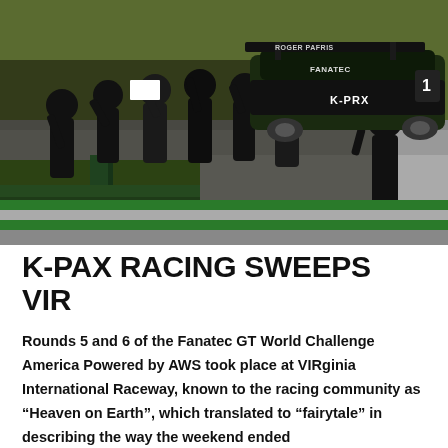[Figure (photo): Aerial/elevated view of racing team members in black uniforms celebrating beside a dark green/black GT racing car (K-PRX branded) on a race track. The car has a large rear wing. People are waving and cheering. The track has green curbing and barriers visible.]
K-PAX RACING SWEEPS VIR
Rounds 5 and 6 of the Fanatec GT World Challenge America Powered by AWS took place at VIRginia International Raceway, known to the racing community as “Heaven on Earth”, which translated to “fairytale” in describing the way the weekend ended